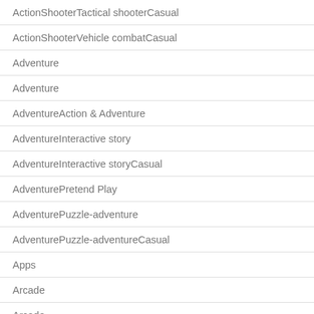ActionShooterTactical shooterCasual
ActionShooterVehicle combatCasual
Adventure
Adventure
AdventureAction & Adventure
AdventureInteractive story
AdventureInteractive storyCasual
AdventurePretend Play
AdventurePuzzle-adventure
AdventurePuzzle-adventureCasual
Apps
Arcade
Arcade